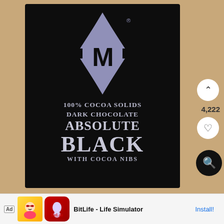[Figure (photo): Screenshot of a product listing showing a black chocolate bar package with a 6-pointed star logo containing the letter M, labeled '100% COCOA SOLIDS DARK CHOCOLATE ABSOLUTE BLACK WITH COCOA NIBS'. Wooden table background. Social media UI elements visible on the right (up arrow, 4,222 count, heart button, search button). Ad banner at the bottom for BitLife - Life Simulator with Install button.]